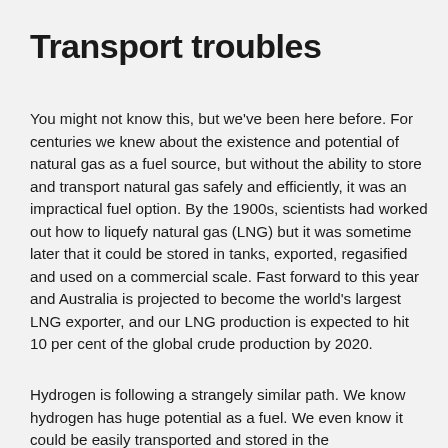Transport troubles
You might not know this, but we've been here before. For centuries we knew about the existence and potential of natural gas as a fuel source, but without the ability to store and transport natural gas safely and efficiently, it was an impractical fuel option. By the 1900s, scientists had worked out how to liquefy natural gas (LNG) but it was sometime later that it could be stored in tanks, exported, regasified and used on a commercial scale. Fast forward to this year and Australia is projected to become the world's largest LNG exporter, and our LNG production is expected to hit 10 per cent of the global crude production by 2020.
Hydrogen is following a strangely similar path. We know hydrogen has huge potential as a fuel. We even know it could be easily transported and stored in the